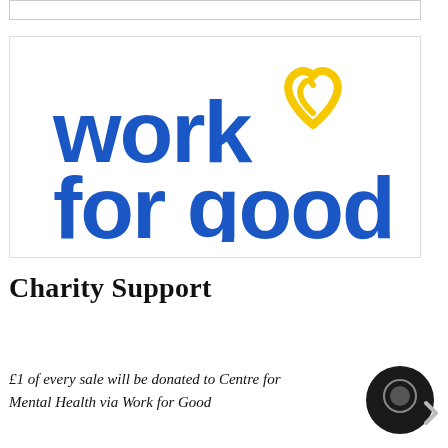[Figure (logo): Work for Good logo: bold blue lowercase text 'work for good.' with a yellow heart/swirl icon above the 'k']
Charity Support
£1 of every sale will be donated to Centre for Mental Health via Work for Good